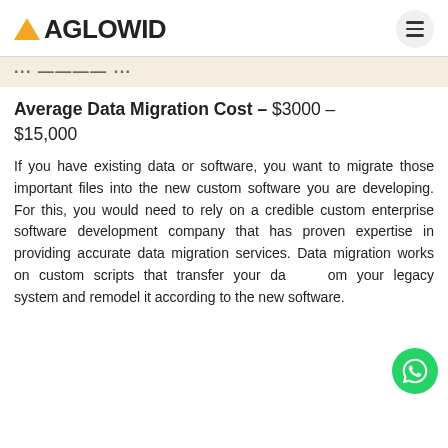AGLOWID
Average Data Migration Cost – $3000 – $15,000
If you have existing data or software, you want to migrate those important files into the new custom software you are developing. For this, you would need to rely on a credible custom enterprise software development company that has proven expertise in providing accurate data migration services. Data migration works on custom scripts that transfer your data from your legacy system and remodel it according to the new software.